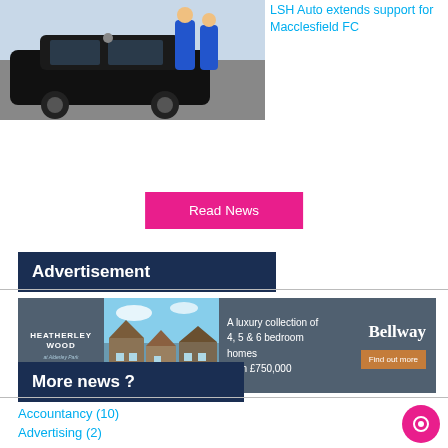[Figure (photo): Two people in blue shirts standing next to a black Mercedes car with LSH Auto branding]
LSH Auto extends support for Macclesfield FC
Read News
Advertisement
[Figure (photo): Bellway Homes advertisement for Heatherley Wood at Alderley Park. A luxury collection of 4, 5 & 6 bedroom homes from £750,000. Find out more.]
More news ?
Accountancy (10)
Advertising (2)